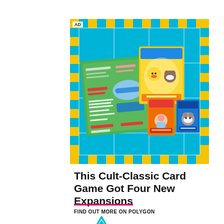[Figure (illustration): Advertisement banner with blue and yellow checkerboard border, tile grid pattern background, showing a board game mat and Pokemon-themed card game boxes including yellow box with Pokemon characters, orange and blue smaller boxes]
This Cult-Classic Card Game Got Four New Expansions
FIND OUT MORE ON POLYGON
[Figure (logo): Polygon diamond/arrow logo in teal/mint color]